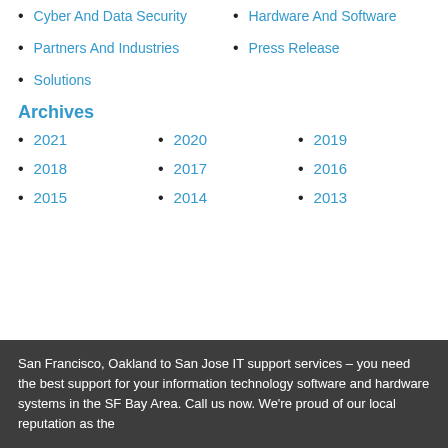Cyber And Data Security
Hardware And Software
Partners And Industries
Press Release
Solutions
Archives
2021
2020
2019
2018
2017
2016
2015
2014
2013
San Francisco, Oakland to San Jose IT support services – you need the best support for your information technology software and hardware systems in the SF Bay Area. Call us now. We're proud of our local reputation as the